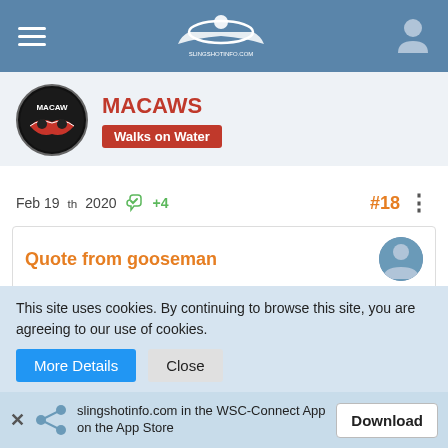slingshotinfo.com navigation bar with hamburger menu, site logo, and user icon
MACAWS — Walks on Water
Feb 19th 2020 👍 +4   #18
Quote from gooseman
[Figure (photo): Close-up photo of a vehicle interior showing foot pedals and center console area]
This site uses cookies. By continuing to browse this site, you are agreeing to our use of cookies.
More Details   Close
slingshotinfo.com in the WSC-Connect App on the App Store   Download